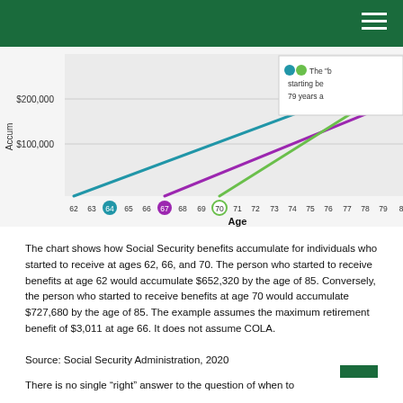[Figure (line-chart): Line chart showing how Social Security benefits accumulate for individuals who started to receive at ages 62, 67, and 70. Three lines (blue for age 62, purple for age 67, green for age 70) rise from their respective starting ages. Y-axis shows $100,000 and $200,000 markers. X-axis shows ages 62 through 80+. Ages 64, 67, and 70 are highlighted with colored circles. A legend box is partially visible at top right.]
The chart shows how Social Security benefits accumulate for individuals who started to receive at ages 62, 66, and 70. The person who started to receive benefits at age 62 would accumulate $652,320 by the age of 85. Conversely, the person who started to receive benefits at age 70 would accumulate $727,680 by the age of 85. The example assumes the maximum retirement benefit of $3,011 at age 66. It does not assume COLA.
Source: Social Security Administration, 2020
There is no single “right” answer to the question of when to